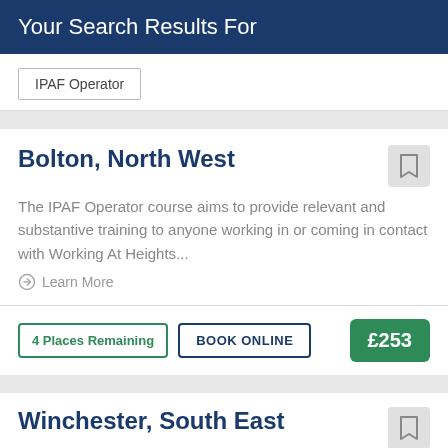Your Search Results For
IPAF Operator
Bolton, North West
The IPAF Operator course aims to provide relevant and substantive training to anyone working in or coming in contact with Working At Heights...
Learn More
4 Places Remaining
BOOK ONLINE
£253
Winchester, South East